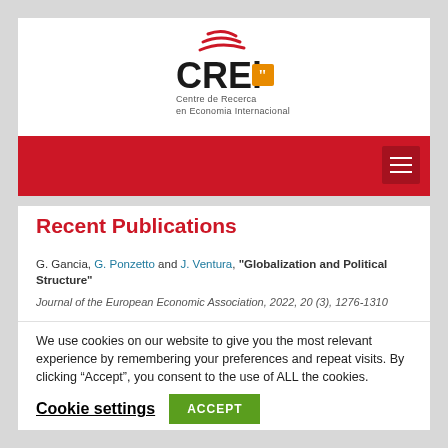[Figure (logo): CREi logo with red swoosh lines above bold 'CREi' text with orange quotation mark icon, and subtitle 'Centre de Recerca en Economia Internacional']
Recent Publications
G. Gancia, G. Ponzetto and J. Ventura, "Globalization and Political Structure"
Journal of the European Economic Association, 2022, 20 (3), 1276-1310
We use cookies on our website to give you the most relevant experience by remembering your preferences and repeat visits. By clicking “Accept”, you consent to the use of ALL the cookies.
Cookie settings | ACCEPT